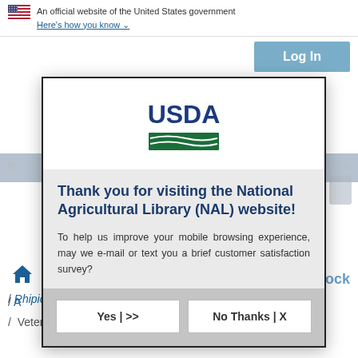An official website of the United States government
Here's how you know ∨
[Figure (screenshot): USDA National Agricultural Library website screenshot with a modal dialog overlay]
Thank you for visiting the National Agricultural Library (NAL) website!
To help us improve your mobile browsing experience, may we e-mail or text you a brief customer satisfaction survey?
Yes | >>
No Thanks | X
/ Rhipicephalus microplus / NP104
/ Veterinary Pest Genomics Center